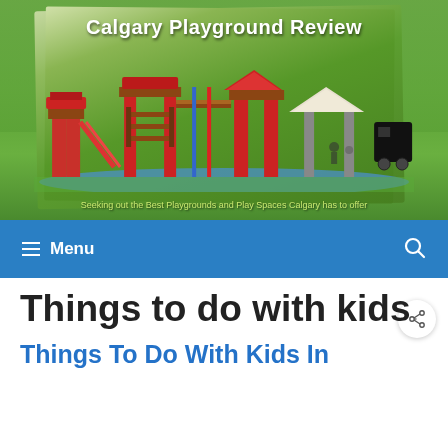[Figure (photo): Calgary Playground Review website header banner showing a large colorful red playground equipment set on blue rubber surface surrounded by green trees. White handwritten-style text reads 'Calgary Playground Review' at the top and 'Seeking out the Best Playgrounds and Play Spaces Calgary has to offer' at the bottom.]
≡ Menu 🔍
Things to do with kids
Things To Do With Kids In